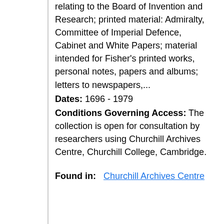relating to the Board of Invention and Research; printed material: Admiralty, Committee of Imperial Defence, Cabinet and White Papers; material intended for Fisher's printed works, personal notes, papers and albums; letters to newspapers,...
Dates: 1696 - 1979
Conditions Governing Access: The collection is open for consultation by researchers using Churchill Archives Centre, Churchill College, Cambridge.
Found in: Churchill Archives Centre